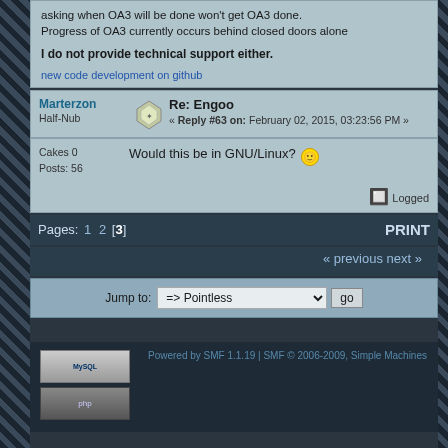asking when OA3 will be done won't get OA3 done. Progress of OA3 currently occurs behind closed doors alone
I do not provide technical support either.
new code development on github
Marterzon
Half-Nub
Re: Engoo
« Reply #63 on: February 02, 2015, 03:23:56 PM »
Cakes 0
Posts: 56
Would this be in GNU/Linux?
Logged
Pages: 1 2 [3]
PRINT
« previous next »
Jump to: => Pointless  go
Powered by SMF 1.1.19 | SMF © 2006-2009, Simple Machines